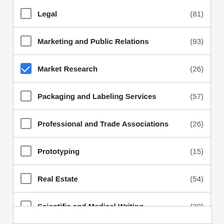Legal (81)
Marketing and Public Relations (93)
Market Research (26) [checked]
Packaging and Labeling Services (57)
Professional and Trade Associations (26)
Prototyping (15)
Real Estate (54)
Scientific and Medical Writing (38)
Staffing (134)
Statistics and Data Management (47)
Supply Chain Services (67) [checked]
Technology Transfer (25)
Venture Capital (90)